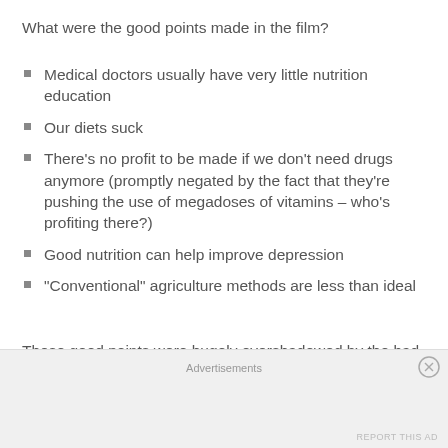What were the good points made in the film?
Medical doctors usually have very little nutrition education
Our diets suck
There’s no profit to be made if we don’t need drugs anymore (promptly negated by the fact that they’re pushing the use of megadoses of vitamins – who’s profiting there?)
Good nutrition can help improve depression
“Conventional” agriculture methods are less than ideal
These good points were hugely overshadowed by the bad points:
Advertisements